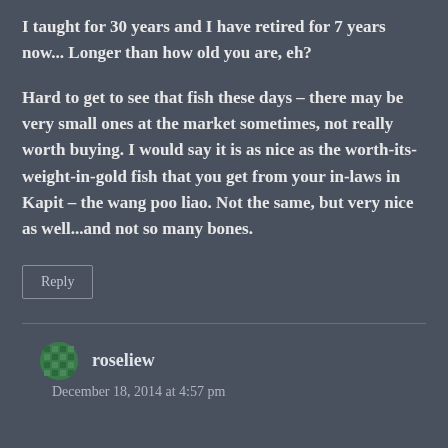I taught for 30 years and I have retired for 7 years now... Longer than how old you are, eh?

Hard to get to see that fish these days – there may be very small ones at the market sometimes, not really worth buying. I would say it is as nice as the worth-its-weight-in-gold fish that you get from your in-laws in Kapit – the wang poo liao. Not the same, but very nice as well...and not so many bones.
Reply
roseliew
December 18, 2014 at 4:57 pm